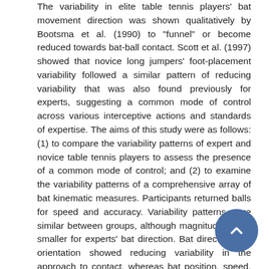The variability in elite table tennis players' bat movement direction was shown qualitatively by Bootsma et al. (1990) to "funnel" or become reduced towards bat-ball contact. Scott et al. (1997) showed that novice long jumpers' foot-placement variability followed a similar pattern of reducing variability that was also found previously for experts, suggesting a common mode of control across various interceptive actions and standards of expertise. The aims of this study were as follows: (1) to compare the variability patterns of expert and novice table tennis players to assess the presence of a common mode of control; and (2) to examine the variability patterns of a comprehensive array of bat kinematic measures. Participants returned balls for speed and accuracy. Variability patterns were similar between groups, although magnitudes were smaller for experts' bat direction. Bat direction and orientation showed reducing variability in the approach to contact, whereas bat position, speed, and acceleration did not. The variability in "funnelling" in many kinematic measures suggests an essential role for on-line control in the table tennis forehand drive. The strong similarity in variability patterns between groups is interpreted as evidence of a common mode of control across standards of expertise that is applicable to interception tasks in general.